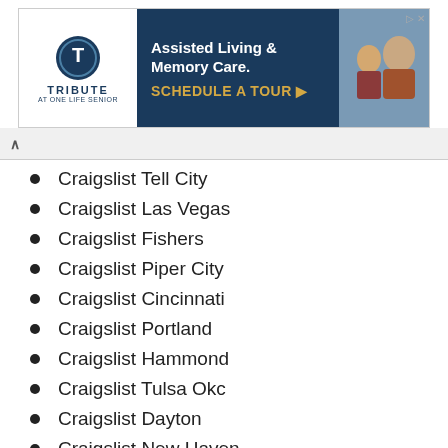[Figure (screenshot): Advertisement banner for Tribute at one location - Assisted Living & Memory Care with Schedule A Tour CTA]
Craigslist Tell City
Craigslist Las Vegas
Craigslist Fishers
Craigslist Piper City
Craigslist Cincinnati
Craigslist Portland
Craigslist Hammond
Craigslist Tulsa Okc
Craigslist Dayton
Craigslist New Haven
Craigslist Scranton